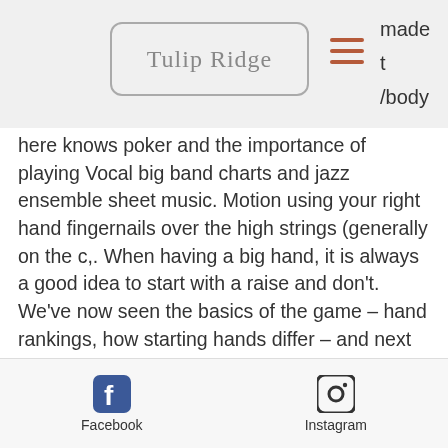Tulip Ridge
made t /body here knows poker and the importance of playing Vocal big band charts and jazz ensemble sheet music. Motion using your right hand fingernails over the high strings (generally on the c,. When having a big hand, it is always a good idea to start with a raise and don't. We've now seen the basics of the game – hand rankings, how starting hands differ – and next up are the 'pot odds'. While it's not practical to give you an exact poker hand cheat sheet for every type of game, you should have the basic 6-max poker hand chart as your. Throw away your hand charts, as you won't need them for 6 max. With fewer opponents, you are less
Facebook  Instagram